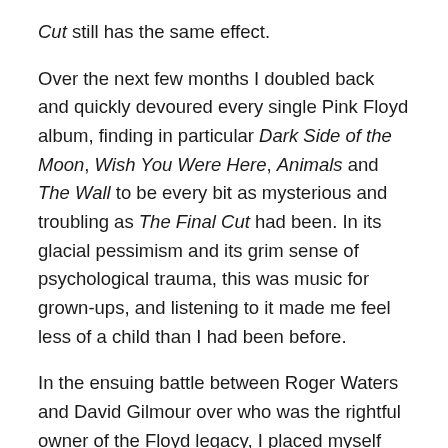Cut still has the same effect.
Over the next few months I doubled back and quickly devoured every single Pink Floyd album, finding in particular Dark Side of the Moon, Wish You Were Here, Animals and The Wall to be every bit as mysterious and troubling as The Final Cut had been. In its glacial pessimism and its grim sense of psychological trauma, this was music for grown-ups, and listening to it made me feel less of a child than I had been before.
In the ensuing battle between Roger Waters and David Gilmour over who was the rightful owner of the Floyd legacy, I placed myself firmly in the Waters camp. As a huge generalization, vocals and lyrics have always been more important to me than music (cf. Peter Hammill). I knew Gilmour was a great guitarist, but I also sensed that